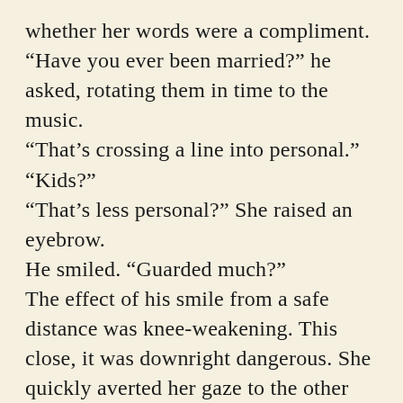whether her words were a compliment. “Have you ever been married?” he asked, rotating them in time to the music.
“That’s crossing a line into personal.”
“Kids?”
“That’s less personal?” She raised an eyebrow.
He smiled. “Guarded much?”
The effect of his smile from a safe distance was knee-weakening. This close, it was downright dangerous. She quickly averted her gaze to the other couples on the floor. “How long is this song anyway?” She felt trapped the way she had in tenth grade when Robbie Gropes-a-Lot Harris had tricked her into dancing with him at the winter formal to...